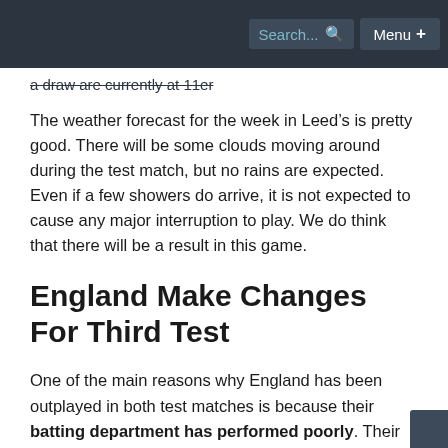Search... [icon] Menu +
a draw are currently at 11er
The weather forecast for the week in Leed’s is pretty good. There will be some clouds moving around during the test match, but no rains are expected. Even if a few showers do arrive, it is not expected to cause any major interruption to play. We do think that there will be a result in this game.
England Make Changes For Third Test
One of the main reasons why England has been outplayed in both test matches is because their batting department has performed poorly. Their captain Joe Root has held the batting together and scored most of the runs, but the rest of the batters have been a let-down.